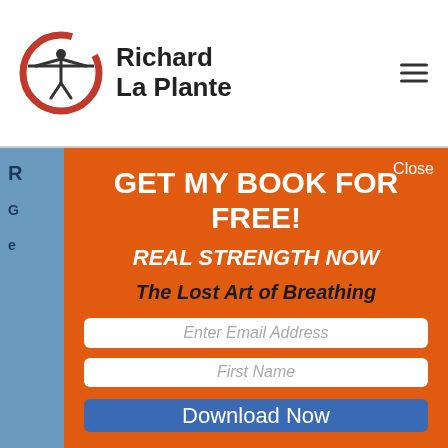[Figure (logo): Richard La Plante logo: circular red brushstroke with silhouette of person raising arms overhead, holding a bar]
Richard La Plante
GET MY BOOK FOR FREE!
REAL STRENGTH NOW
The Lost Art of Breathing
Enter Email Address
First Name
Download Now
Close